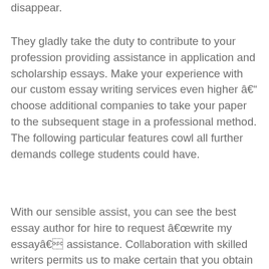disappear.
They gladly take the duty to contribute to your profession providing assistance in application and scholarship essays. Make your experience with our custom essay writing services even higher â choose additional companies to take your paper to the subsequent stage in a professional method. The following particular features cowl all further demands college students could have.
With our sensible assist, you can see the best essay author for hire to request âwrite my essayâ assistance. Collaboration with skilled writers permits us to make certain that you obtain qualified assistance. You would be in a position to choose an writer who has specific abilities wanted to finish your task. Track the